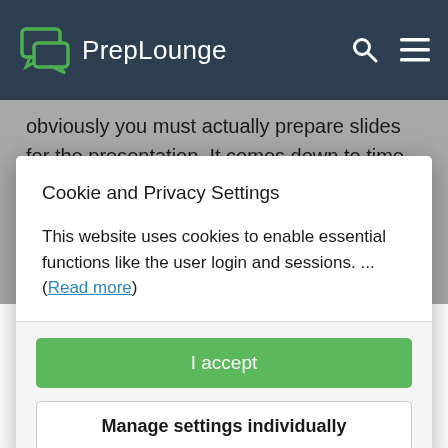PrepLounge
obviously you must actually prepare slides for the presentation. It comes down to time management. For example, agree in advance you will allocate 5 minutes to figure out what's going on, 30 minutes
Cookie and Privacy Settings
This website uses cookies to enable essential functions like the user login and sessions. ... (Read more)
I accept
Manage settings individually